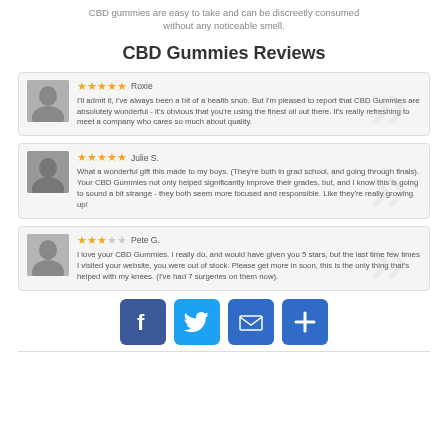CBD gummies are easy to take and can be discreetly consumed without any noticeable smell.
CBD Gummies Reviews
Rosie — I'll admit it, I've always been a bit of a health snob. But I'm pleased to report that CBD Gummies are absolutely wonderful - it's obvious that you're using the finest oil out there. It's really refreshing to meet a company who cares so much about quality.
Julie S. — What a wonderful gift this made to my boys. (They're both in grad school, and going through finals). Your CBD Gummies not only helped significantly improve their grades, but, and I know this is going to sound a bit strange - they both seem more focused and responsible. Like they're really growing up!
Pete G. — I love your CBD Gummies. I really do, and would have given you 5 stars, but the last time few times I visited your website, you were out of stock. Please get more in soon, this is the only thing that's helped with my knees. (I've had 7 surgeries on them now).
[Figure (infographic): Social sharing buttons: Facebook (blue), Twitter (light blue), Email (blue envelope), Plus/Share (blue plus sign)]